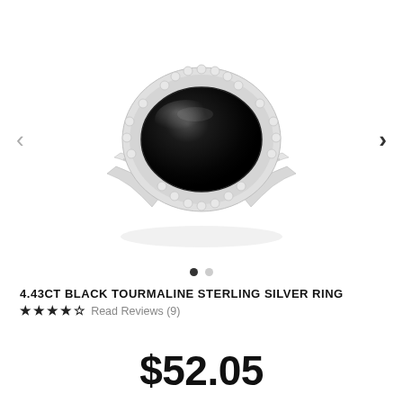[Figure (photo): A sterling silver ring featuring a large oval black tourmaline cabochon gemstone set in a beaded/milgrain halo setting, with a split shank band, photographed on a white background. Navigation arrows (left and right) and two pagination dots are visible.]
4.43CT BLACK TOURMALINE STERLING SILVER RING ★★★★½ Read Reviews (9)
$52.05